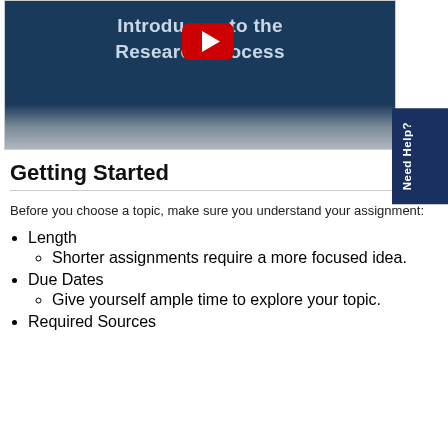[Figure (screenshot): YouTube video thumbnail showing 'Introduction to the Research Process' title on a dark blue background with a YouTube play button, fading to a grey terrain-like pattern at the bottom.]
Getting Started
Before you choose a topic, make sure you understand your assignment:
Length
Shorter assignments require a more focused idea.
Due Dates
Give yourself ample time to explore your topic.
Required Sources